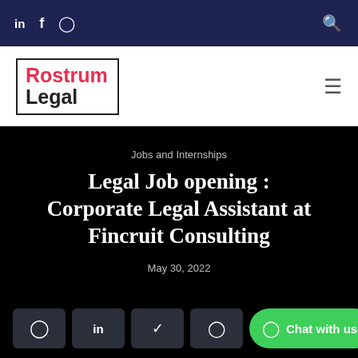in  f  [instagram icon]  [search icon]
[Figure (logo): Rostrum Legal logo — red 'Rostrum' text over black 'Legal' text inside a bordered box]
Jobs and Internships
Legal Job opening : Corporate Legal Assistant at Fincruit Consulting
May 30, 2022
Share buttons: Facebook, LinkedIn, Twitter, WhatsApp | Chat with us! button